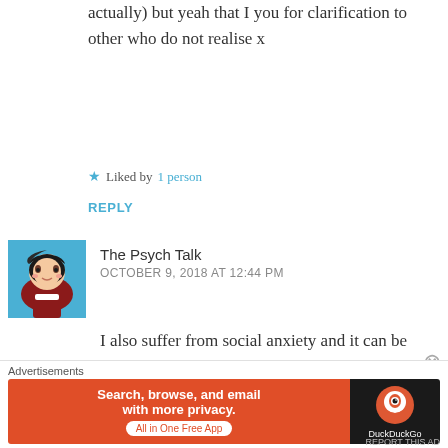actually) but yeah that I you for clarification to other who do not realise x
★ Liked by 1 person
REPLY
The Psych Talk
OCTOBER 9, 2018 AT 12:44 PM
I also suffer from social anxiety and it can be frustrating to see introverts or shy people think they have it. Social anxiety is a lot more debilitating.
Advertisements
Search, browse, and email with more privacy. All in One Free App
DuckDuckGo